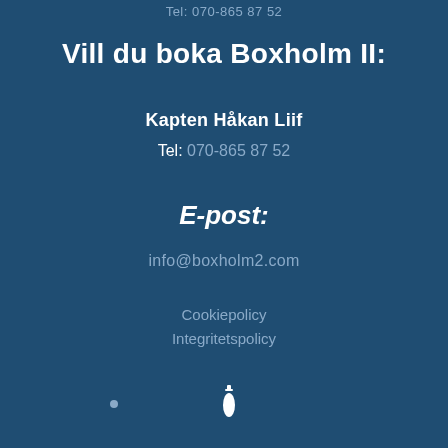Tel: 070-865 87 52
Vill du boka Boxholm II:
Kapten Håkan Liif
Tel: 070-865 87 52
E-post:
info@boxholm2.com
Cookiepolicy
Integritetspolicy